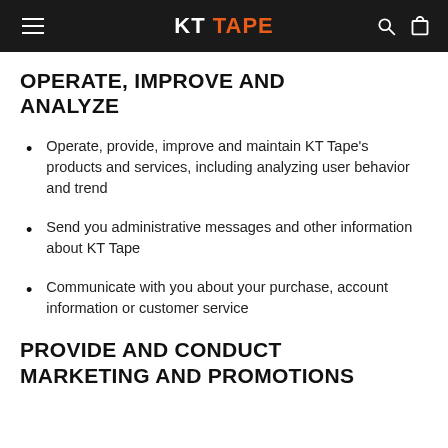KT TAPE
OPERATE, IMPROVE AND ANALYZE
Operate, provide, improve and maintain KT Tape's products and services, including analyzing user behavior and trend
Send you administrative messages and other information about KT Tape
Communicate with you about your purchase, account information or customer service
PROVIDE AND CONDUCT MARKETING AND PROMOTIONS